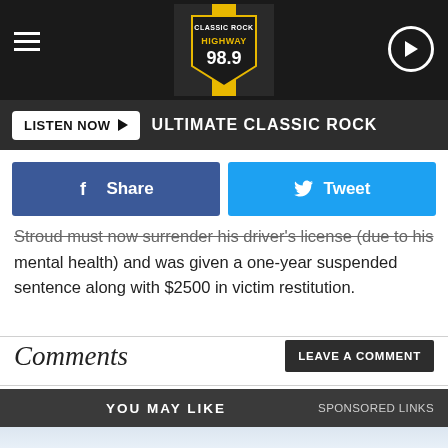[Figure (logo): Highway 98.9 Classic Rock radio station header with logo, hamburger menu, and play button]
LISTEN NOW ▶  ULTIMATE CLASSIC ROCK
[Figure (infographic): Facebook Share button and Twitter Tweet button]
Stroud must now surrender his driver's license (due to his mental health) and was given a one-year suspended sentence along with $2500 in victim restitution.
Comments
YOU MAY LIKE   SPONSORED LINKS
[Figure (photo): Graduation caps being tossed in the air against a light blue sky background]